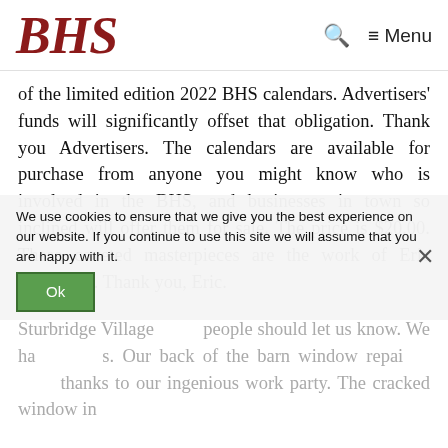BHS   🔍   ≡ Menu
of the limited edition 2022 BHS calendars. Advertisers' funds will significantly offset that obligation. Thank you Advertisers. The calendars are available for purchase from anyone you might know who is involved in the BHS, and businesses in town so inclined will offer them for sale. The price is $20.00. These coveted masterpieces are the work of Eric DiVirgilio. Thank you, Eric.
We use cookies to ensure that we give you the best experience on our website. If you continue to use this site we will assume that you are happy with it.
Sturbridge Village ... people should let us know. We have tickets. Our back of the barn window repair is done thanks to our ingenious work party. The cracked window in